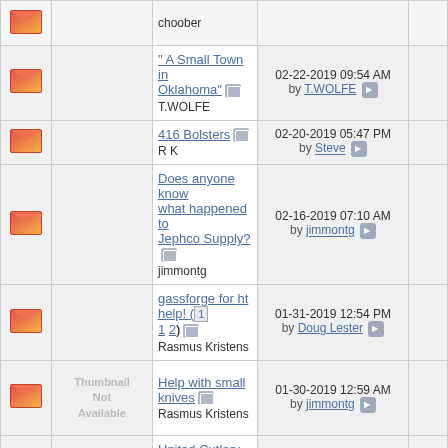|  |  | Topic | Last Post |  |
| --- | --- | --- | --- | --- |
| [icon] |  | choober |  |  |
| [icon] |  | " A Small Town in Oklahoma" T.WOLFE | 02-22-2019 09:54 AM by T.WOLFE |  |
| [icon] |  | 416 Bolsters R K | 02-20-2019 05:47 PM by Steve |  |
| [icon] |  | Does anyone know what happened to Jephco Supply? jimmontg | 02-16-2019 07:10 AM by jimmontg |  |
| [icon] |  | gassforge for ht help! (1 2) Rasmus Kristens | 01-31-2019 12:54 PM by Doug Lester |  |
| [icon] | Thumbnail Not Available | Help with small knives Rasmus Kristens | 01-30-2019 12:59 AM by jimmontg |  |
| [icon] |  | United Cutlery Honshu Push Dagger James_Will | 01-28-2019 03:59 AM by James_Will |  |